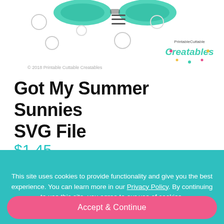[Figure (screenshot): Partial product image of sunglasses SVG graphic with teal/green decorative elements and circles in the background, copyright text and logo visible]
Got My Summer Sunnies SVG File
$1.45
This site uses cookies to provide functionality and give you the best experience. You can learn more in our Privacy Policy. By continuing to use this site, you agree to our use of cookies.
Accept & Continue